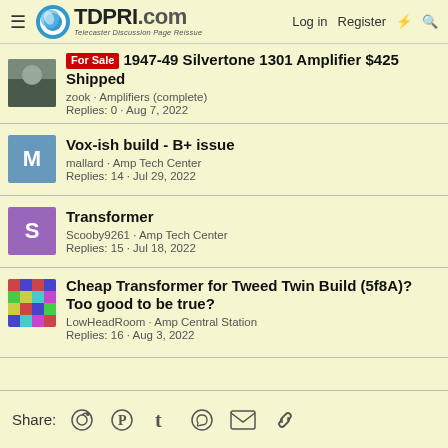TDPRI.com — Telecaster Discussion Page Reissue — Log in | Register
For Sale 1947-49 Silvertone 1301 Amplifier $425 Shipped — zook · Amplifiers (complete) — Replies: 0 · Aug 7, 2022
Vox-ish build - B+ issue — mallard · Amp Tech Center — Replies: 14 · Jul 29, 2022
Transformer — Scooby9261 · Amp Tech Center — Replies: 15 · Jul 18, 2022
Cheap Transformer for Tweed Twin Build (5f8A)? Too good to be true? — LowHeadRoom · Amp Central Station — Replies: 16 · Aug 3, 2022
Share: Reddit Pinterest Tumblr WhatsApp Email Link